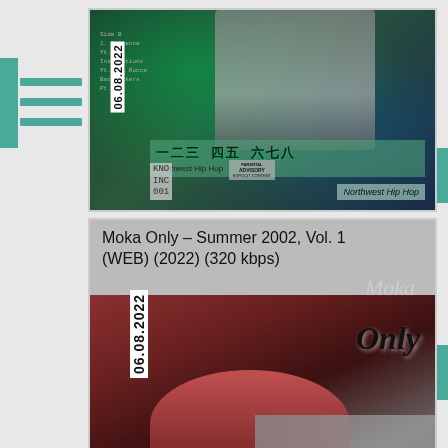[Figure (photo): Album cover for a hip-hop release with dark green/teal background, figure in white, stylized title text, date stamp 06.08.2022, KNO INC 001 label, Parental Advisory sticker, Northwest Hip Hop tag]
[Figure (photo): Album cover for Moka Only – Summer 2002, Vol. 1 (WEB) (2022) (320 kbps), showing a young man in a knit hat with a sepia/red-toned photo, date stamp 06.08.2022, 'Only' in script text overlay]